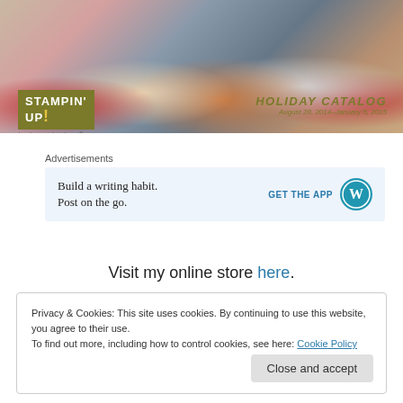[Figure (photo): Holiday catalog cover photo showing wrapped gifts, red ribbons, and people in background. Stampin' Up! logo with olive/gold background in lower left. 'HOLIDAY CATALOG August 28, 2014–January 5, 2015' text in upper right.]
Advertisements
[Figure (other): Advertisement banner: 'Build a writing habit. Post on the go.' with 'GET THE APP' and WordPress logo on blue-tinted background.]
Visit my online store here.
Privacy & Cookies: This site uses cookies. By continuing to use this website, you agree to their use.
To find out more, including how to control cookies, see here: Cookie Policy
Close and accept